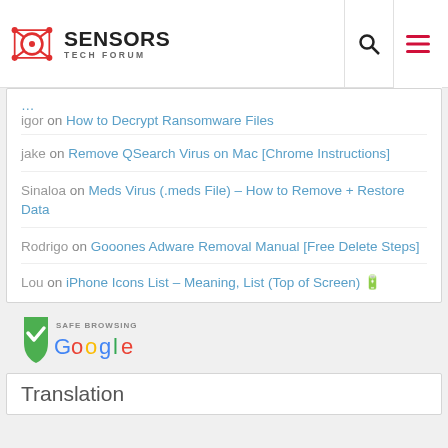Sensors Tech Forum
igor on How to Decrypt Ransomware Files
jake on Remove QSearch Virus on Mac [Chrome Instructions]
Sinaloa on Meds Virus (.meds File) – How to Remove + Restore Data
Rodrigo on Gooones Adware Removal Manual [Free Delete Steps]
Lou on iPhone Icons List – Meaning, List (Top of Screen) 🔋
[Figure (logo): Google Safe Browsing badge with green shield and checkmark]
Translation